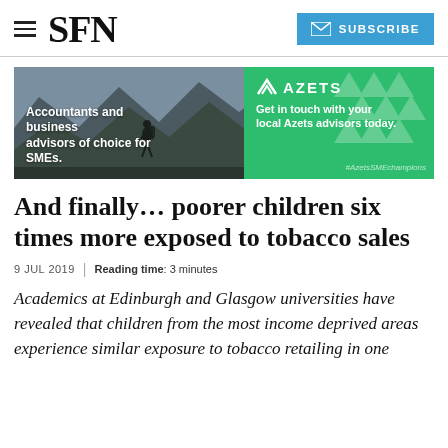SFN | SUBSCRIBE
[Figure (illustration): Azets advertisement banner showing mountain landscape with hiker silhouette on left side and green background with Azets logo on right. Text reads: Accountants and business advisors of choice for SMEs. / Get in touch with your local Azets advisors today. / #AzetsSMEchampions]
And finally… poorer children six times more exposed to tobacco sales
9 JUL 2019 | Reading time: 3 minutes
Academics at Edinburgh and Glasgow universities have revealed that children from the most income deprived areas experience similar exposure to tobacco retailing in one